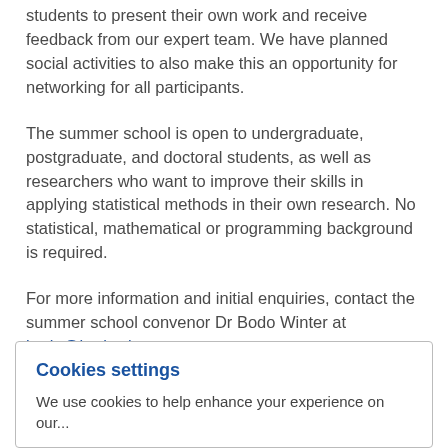students to present their own work and receive feedback from our expert team. We have planned social activities to also make this an opportunity for networking for all participants.
The summer school is open to undergraduate, postgraduate, and doctoral students, as well as researchers who want to improve their skills in applying statistical methods in their own research. No statistical, mathematical or programming background is required.
For more information and initial enquiries, contact the summer school convenor Dr Bodo Winter at bodo@bodowinter.com
Registration
Cookies settings
We use cookies to help enhance your experience on our...